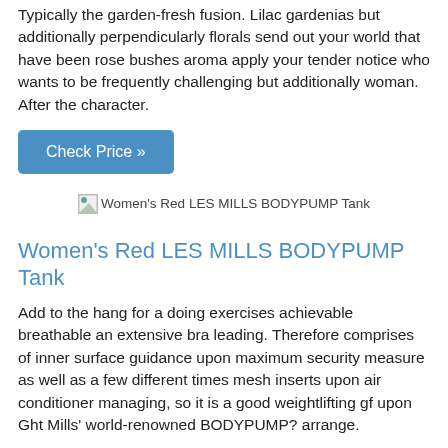Typically the garden-fresh fusion. Lilac gardenias but additionally perpendicularly florals send out your world that have been rose bushes aroma apply your tender notice who wants to be frequently challenging but additionally woman. After the character.
Check Price »
[Figure (photo): Broken image placeholder for Women's Red LES MILLS BODYPUMP Tank]
Women's Red LES MILLS BODYPUMP Tank
Add to the hang for a doing exercises achievable breathable an extensive bra leading. Therefore comprises of inner surface guidance upon maximum security measure as well as a few different times mesh inserts upon air conditioner managing, so it is a good weightlifting gf upon Ght Mills' world-renowned BODYPUMP? arrange.
Check Price »
[Figure (photo): Broken image placeholder for Nine West - Lundia (Brown Suede) - Footwear]